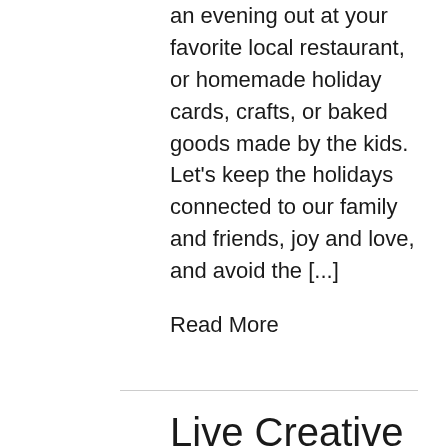an evening out at your favorite local restaurant, or homemade holiday cards, crafts, or baked goods made by the kids. Let's keep the holidays connected to our family and friends, joy and love, and avoid the [...]
Read More
Live Creative Studio's 2021 Sustainable Holiday Gift